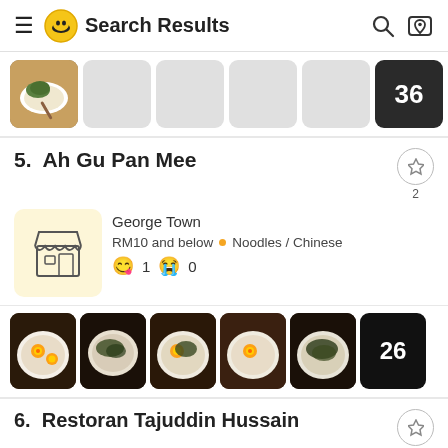Search Results
[Figure (photo): Photo strip with one food image and 5 placeholder thumbnails, last showing count 36]
5.  Ah Gu Pan Mee
George Town
RM10 and below • Noodles / Chinese
😋 1  😢 0
[Figure (photo): Grid of 5 noodle soup bowl photos and a dark tile showing count 26]
6.  Restoran Tajuddin Hussain
George Town